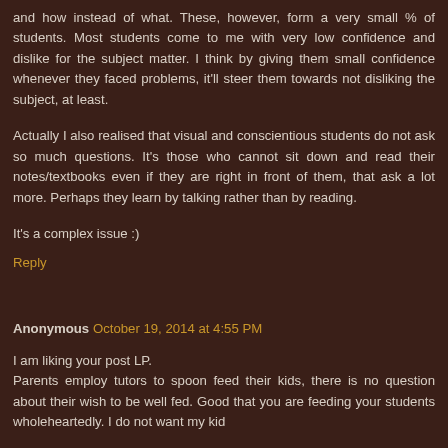and how instead of what. These, however, form a very small % of students. Most students come to me with very low confidence and dislike for the subject matter. I think by giving them small confidence whenever they faced problems, it'll steer them towards not disliking the subject, at least.
Actually I also realised that visual and conscientious students do not ask so much questions. It's those who cannot sit down and read their notes/textbooks even if they are right in front of them, that ask a lot more. Perhaps they learn by talking rather than by reading.
It's a complex issue :)
Reply
Anonymous October 19, 2014 at 4:55 PM
I am liking your post LP.
Parents employ tutors to spoon feed their kids, there is no question about their wish to be well fed. Good that you are feeding your students wholeheartedly. I do not want my kid